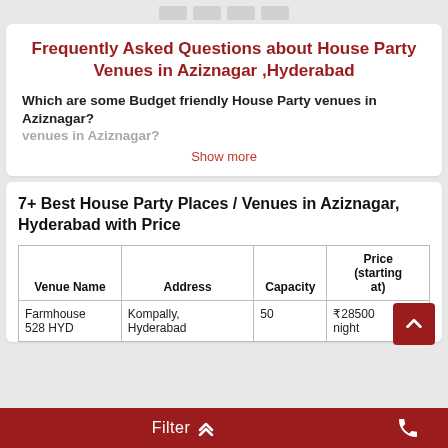Frequently Asked Questions about House Party Venues in Aziznagar ,Hyderabad
Which are some Budget friendly House Party venues in Aziznagar?
Show more
7+ Best House Party Places / Venues in Aziznagar, Hyderabad with Price
| Venue Name | Address | Capacity | Price (starting at) |
| --- | --- | --- | --- |
| Farmhouse 528 HYD | Kompally, Hyderabad | 50 | ₹28500 night |
Filter  ⌃⌃